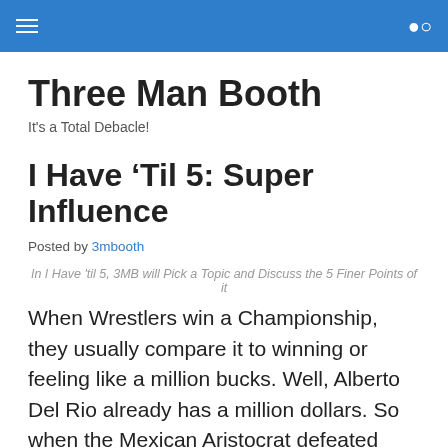Three Man Booth — hamburger menu and search icon
Three Man Booth
It's a Total Debacle!
I Have ‘Til 5: Super Influence
Posted by 3mbooth
In I Have 'til 5, 3MB will Pick a Topic and Discuss the 5 Finer Points of it
When Wrestlers win a Championship, they usually compare it to winning or feeling like a million bucks. Well, Alberto Del Rio already has a million dollars. So when the Mexican Aristocrat defeated Dolph Zigger at WWE Payback, what did he feel like afterwards? Despite the